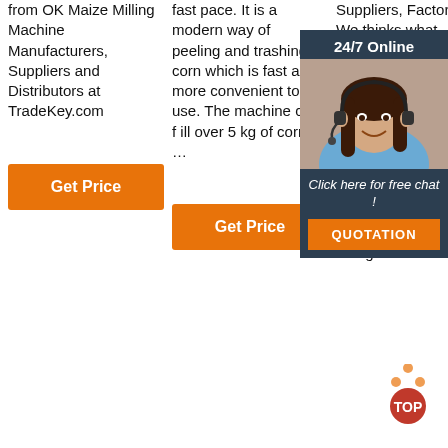from OK Maize Milling Machine Manufacturers, Suppliers and Distributors at TradeKey.com
Get Price
fast pace. It is a modern way of peeling and trashing corn which is fast and more convenient to use. The machine can fill over 5 kg of corn …
Get Price
Suppliers, Factory. We thinks what buyers think, th... ur... du... in... pu... po... th... fo... high-quality, reduced processing costs, charges are more
[Figure (infographic): 24/7 Online chat widget with customer service agent photo, 'Click here for free chat!' text, and QUOTATION button in orange]
[Figure (logo): TOP badge logo with orange dots arranged in triangle above red circle with 'TOP' text]